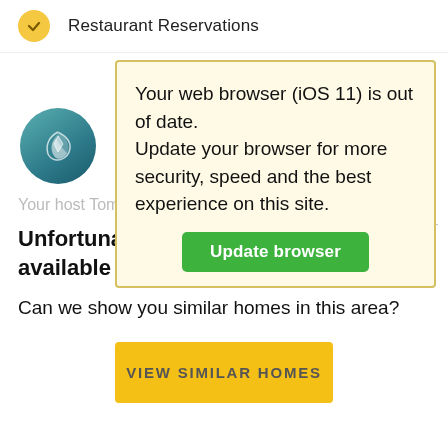Restaurant Reservations
[Figure (screenshot): Browser out-of-date warning banner with yellow background and green Update browser button]
[Figure (logo): Teal circular logo with white bird/feather icon]
Your host Tom...
Unfortunately this home is no longer available in our collection
Can we show you similar homes in this area?
VIEW SIMILAR HOMES